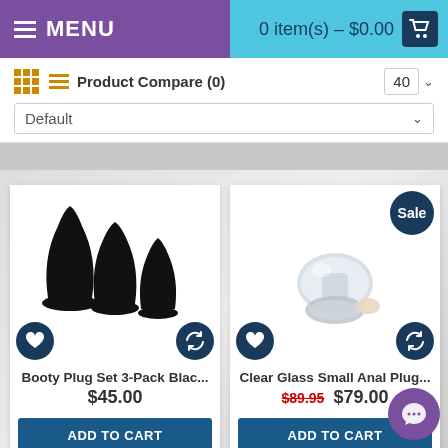MENU  |  0 item(s) – $0.00
Product Compare (0)  40  Default
[Figure (photo): Three black silicone plug toys of different sizes arranged together]
Booty Plug Set 3-Pack Blac...
$45.00
ADD TO CART
[Figure (photo): Clear glass small anal plug with crystal accent, sale badge shown]
Clear Glass Small Anal Plug...
$89.95  $79.00
ADD TO CART